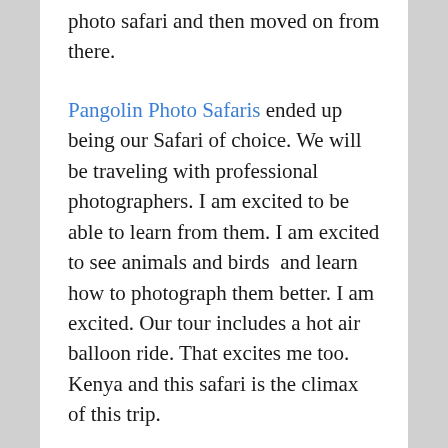photo safari and then moved on from there.
Pangolin Photo Safaris ended up being our Safari of choice. We will be traveling with professional photographers. I am excited to be able to learn from them. I am excited to see animals and birds  and learn how to photograph them better. I am excited. Our tour includes a hot air balloon ride. That excites me too. Kenya and this safari is the climax of this trip.